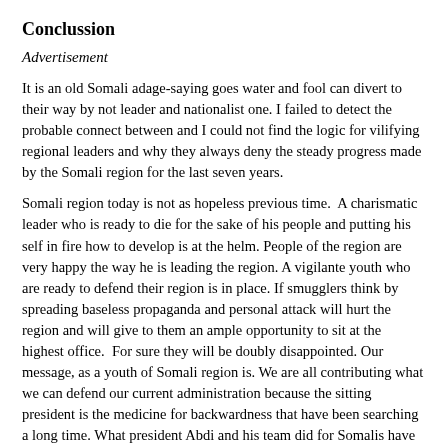Conclussion
Advertisement
It is an old Somali adage-saying goes water and fool can divert to their way by not leader and nationalist one. I failed to detect the probable connect between and I could not find the logic for vilifying regional leaders and why they always deny the steady progress made by the Somali region for the last seven years.
Somali region today is not as hopeless previous time.  A charismatic leader who is ready to die for the sake of his people and putting his self in fire how to develop is at the helm. People of the region are very happy the way he is leading the region. A vigilante youth who are ready to defend their region is in place. If smugglers think by spreading baseless propaganda and personal attack will hurt the region and will give to them an ample opportunity to sit at the highest office.  For sure they will be doubly disappointed. Our message, as a youth of Somali region is. We are all contributing what we can defend our current administration because the sitting president is the medicine for backwardness that have been searching a long time. What president Abdi and his team did for Somalis have no parallel in the known history.  So let me confirm with loud speak to everyone. Going back is not an option that we can accept.